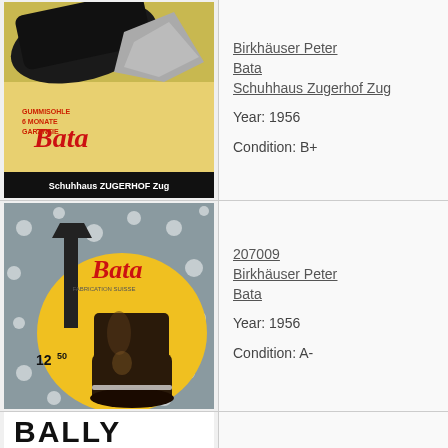[Figure (photo): Bata shoe advertisement poster - Schuhhaus Zugerhof Zug, 1956, showing black leather shoe with rubber sole guarantee text]
Birkhäuser Peter
Bata
Schuhhaus Zugerhof Zug
Year: 1956
Condition: B+
[Figure (photo): Bata rubber boot advertisement poster showing dark boot on yellow background with price 12.50, Fabrication Suisse]
207009
Birkhäuser Peter
Bata
Year: 1956
Condition: A-
[Figure (photo): Third poster partially visible at bottom - appears to show BALLY text in bold black letters]